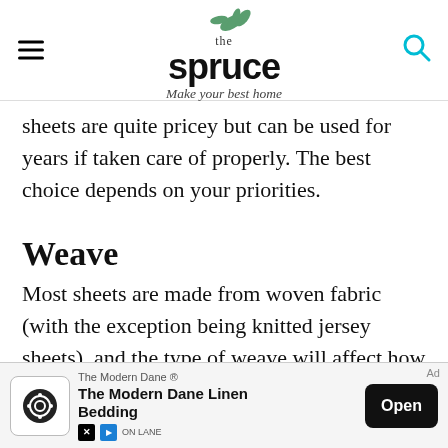the spruce — Make your best home
sheets are quite pricey but can be used for years if taken care of properly. The best choice depends on your priorities.
Weave
Most sheets are made from woven fabric (with the exception being knitted jersey sheets), and the type of weave will affect how the sheets feel, as well as their longevity. A percale weave results in a stronger, more crisp fabric that's easy to care for, while sateen weaves are a bit softer but more prone to pilling.
[Figure (other): Advertisement banner for The Modern Dane Linen Bedding with Open button]